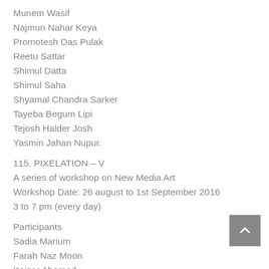Munem Wasif
Najmun Nahar Keya
Promotesh Das Pulak
Reetu Sattar
Shimul Datta
Shimul Saha
Shyamal Chandra Sarker
Tayeba Begum Lipi
Tejosh Halder Josh
Yasmin Jahan Nupur.
115. PIXELATION – V
A series of workshop on New Media Art
Workshop Date: 26 august to 1st September 2016
3 to 7 pm (every day)
Participants
Sadia Marium
Farah Naz Moon
Kaisar Ahamed
Md Alamgir Hossain